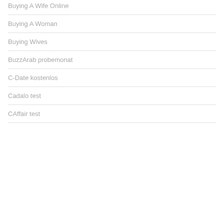Buying A Wife Online
Buying A Woman
Buying Wives
BuzzArab probemonat
C-Date kostenlos
Cadalo test
CAffair test